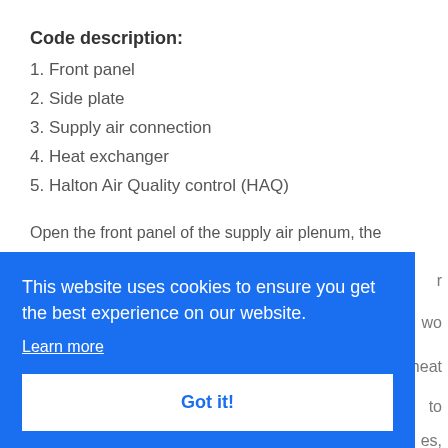Code description:
1. Front panel
2. Side plate
3. Supply air connection
4. Heat exchanger
5. Halton Air Quality control (HAQ)
Open the front panel of the supply air plenum, the
[Figure (screenshot): Cookie consent overlay banner with blue background. Text: 'This website uses cookies to ensure you get the best experience on our website.' with a 'Learn more' link and a 'Got it!' button.]